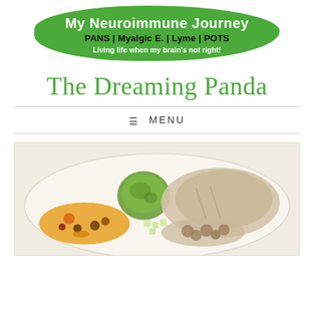[Figure (logo): Green organic blob-shaped banner with white bold title 'My Neuroimmune Journey', black bold subtitle 'PANS | Myalgic E. | Lyme | POTS', and white italic tagline 'Living life when my brain's not right!']
The Dreaming Panda
≡ MENU
[Figure (photo): A white plate with food including a green herb biscuit/ball, sliced chicken with mushroom sauce, orange salad with cranberries and pecans, and diced apple or pear mixture.]